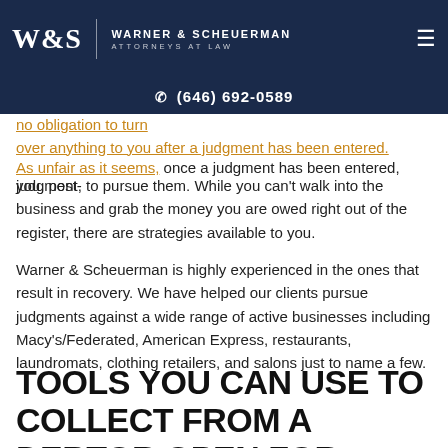WARNER & SCHEUERMAN | ATTORNEYS AT LAW | (646) 692-0589
no obligation to turn over anything to you after a judgment has been entered. As unfair as it seems, once a judgment has been entered, you, post-judgment, to pursue them. While you can't walk into the business and grab the money you are owed right out of the register, there are strategies available to you.
Warner & Scheuerman is highly experienced in the ones that result in recovery. We have helped our clients pursue judgments against a wide range of active businesses including Macy's/Federated, American Express, restaurants, laundromats, clothing retailers, and salons just to name a few.
TOOLS YOU CAN USE TO COLLECT FROM A DEBTOR OPEN FOR BUSINESS IN